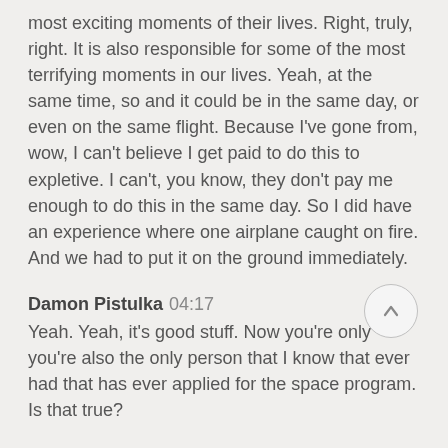most exciting moments of their lives. Right, truly, right. It is also responsible for some of the most terrifying moments in our lives. Yeah, at the same time, so and it could be in the same day, or even on the same flight. Because I've gone from, wow, I can't believe I get paid to do this to expletive. I can't, you know, they don't pay me enough to do this in the same day. So I did have an experience where one airplane caught on fire. And we had to put it on the ground immediately.
Damon Pistulka  04:17
Yeah. Yeah, it's good stuff. Now you're only you're also the only person that I know that ever had that has ever applied for the space program. Is that true?
Ron Higgs  04:31
It is. And so my dream as a kid was to become an astronaut. And so I literally figured out the path and I